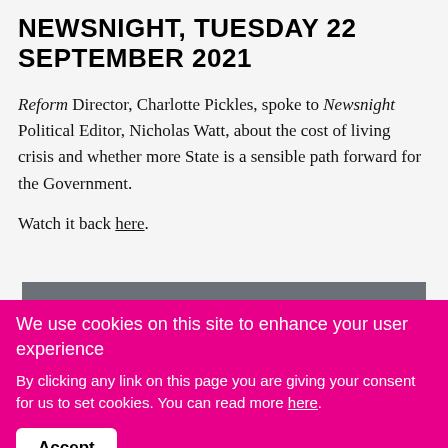NEWSNIGHT, TUESDAY 22 SEPTEMBER 2021
Reform Director, Charlotte Pickles, spoke to Newsnight Political Editor, Nicholas Watt, about the cost of living crisis and whether more State is a sensible path forward for the Government.
Watch it back here.
STAY UP TO DATE
We use cookies on this site to enhance your user experience
By clicking any link on this page you are giving your consent for us to set cookies. You can read more here.
Accept